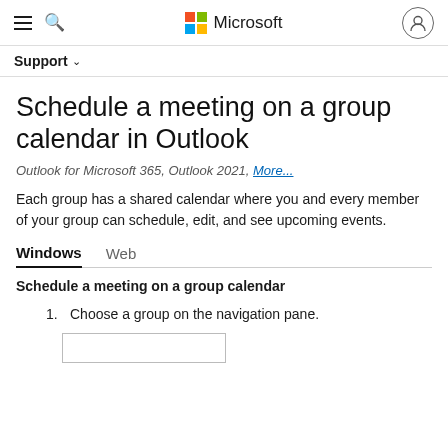Microsoft
Support
Schedule a meeting on a group calendar in Outlook
Outlook for Microsoft 365, Outlook 2021, More...
Each group has a shared calendar where you and every member of your group can schedule, edit, and see upcoming events.
Windows	Web
Schedule a meeting on a group calendar
1.  Choose a group on the navigation pane.
[Figure (screenshot): Screenshot placeholder box]